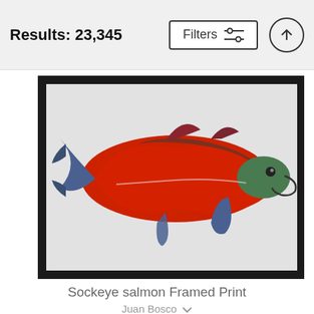Results: 23,345
Filters
[Figure (illustration): Framed print of a sockeye salmon illustration on light grey background, fish shown in red and blue coloring facing right]
Sockeye salmon Framed Print
Juan Bosco
$87
[Figure (photo): Framed photograph showing a teal-blue underwater scene with light rays and a fish visible in the distance]